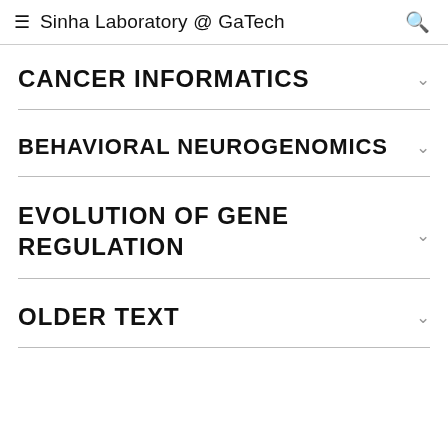Sinha Laboratory @ GaTech
CANCER INFORMATICS
BEHAVIORAL NEUROGENOMICS
EVOLUTION OF GENE REGULATION
OLDER TEXT